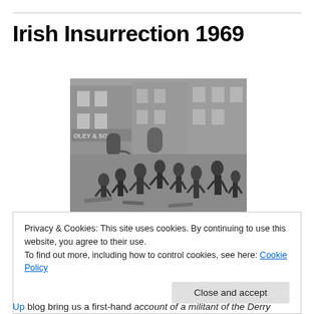Irish Insurrection 1969
[Figure (photo): Black and white photograph showing a crowd of people running in a street with buildings in the background, including a shop with sign 'OLEY & SON'. Scene appears to depict civil unrest or rioting.]
Privacy & Cookies: This site uses cookies. By continuing to use this website, you agree to their use.
To find out more, including how to control cookies, see here: Cookie Policy
Close and accept
Up blog bring us a first-hand account of a militant of the Derry